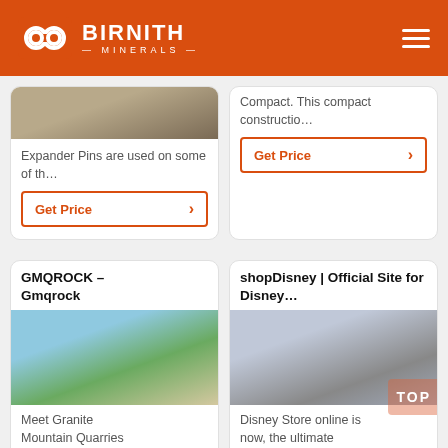[Figure (logo): Birnith Minerals logo with orange background, white hexagon/infinity icon and white text BIRNITH MINERALS, hamburger menu icon on right]
Expander Pins are used on some of th…
Get Price
Compact. This compact constructio…
Get Price
GMQROCK – Gmqrock
[Figure (photo): Green rock crushing machine at a granite quarry with rocks and blue sky]
Meet Granite Mountain Quarries
shopDisney | Official Site for Disney…
[Figure (photo): Industrial factory interior with heavy machinery and equipment]
Disney Store online is now, the ultimate